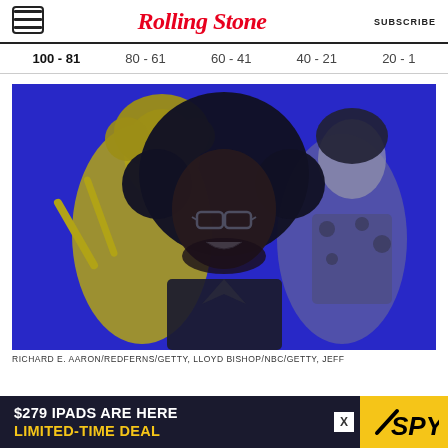Rolling Stone | SUBSCRIBE
100 - 81  80 - 61  60 - 41  40 - 21  20 - 1
[Figure (photo): Composite photo of three musicians on a dark blue background: a woman with curly hair holding drumsticks (tinted yellow), a man with a large afro wearing glasses and smiling (black and white), and a man in a patterned shirt singing (tinted yellow/black and white)]
RICHARD E. AARON/REDFERNS/GETTY, LLOYD BISHOP/NBC/GETTY, JEFF
$279 IPADS ARE HERE LIMITED-TIME DEAL | SPY